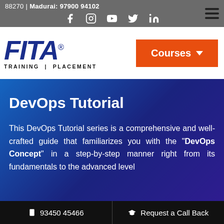88270 | Madurai: 97900 94102
[Figure (logo): FITA Training | Placement logo with social media icons (Facebook, Instagram, YouTube, Twitter, LinkedIn)]
[Figure (logo): FITA Academy logo - blue bold italic letters with registered trademark, tagline TRAINING | PLACEMENT, and orange Courses button]
DevOps Tutorial
This DevOps Tutorial series is a comprehensive and well-crafted guide that familiarizes you with the "DevOps Concept" in a step-by-step manner right from its fundamentals to the advanced level
93450 45466 | Request a Call Back